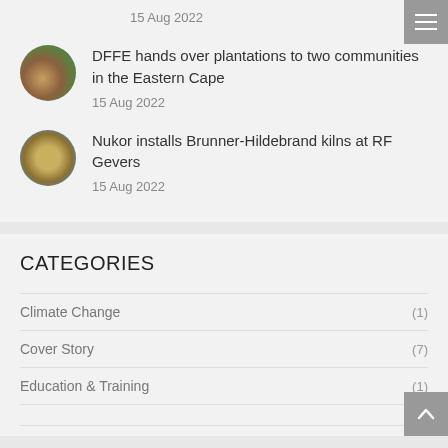15 Aug 2022
[Figure (photo): Circular thumbnail of people at an outdoor community event]
DFFE hands over plantations to two communities in the Eastern Cape
15 Aug 2022
[Figure (photo): Circular thumbnail of timber/lumber stacked near a building under blue sky]
Nukor installs Brunner-Hildebrand kilns at RF Gevers
15 Aug 2022
CATEGORIES
Climate Change (1)
Cover Story (7)
Education & Training (1)